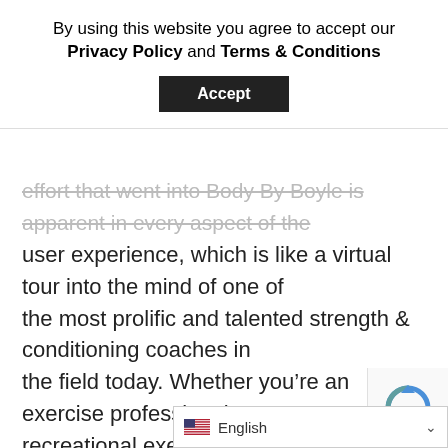By using this website you agree to accept our Privacy Policy and Terms & Conditions
Accept
effort that went into Body By Boyle is apparent in every aspect of the user experience, which is like a virtual tour into the mind of one of the most prolific and talented strength & conditioning coaches in the field today. Whether you’re an exercise professional or a recreational exerciser, from novice to expert, you’re going to find all of the tools that you need to be successful right here. really can't say enough about Body By Bo…
English
- Terms